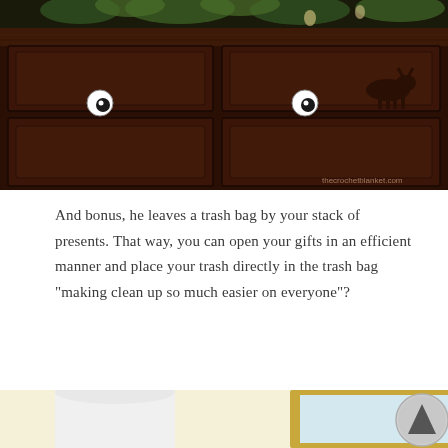[Figure (photo): Photo of a dark wood dresser with drawer pulls replaced by googly eyes. Pine/evergreen branches visible at the top. A deer silhouette is also visible on the right side. Website watermark visible at lower right.]
And bonus, he leaves a trash bag by your stack of presents. That way, you can open your gifts in an efficient manner and place your trash directly in the trash bag “making clean up so much easier on everyone”?
[Figure (photo): Partial photo showing a white lamp and a framed picture with a gold frame on a light yellow/cream background.]